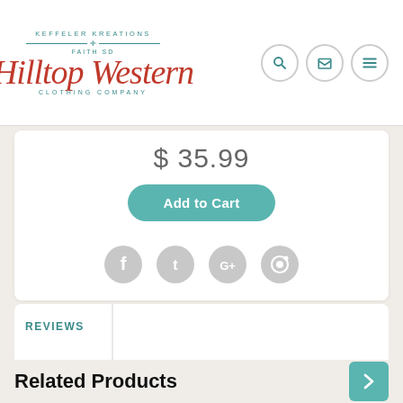[Figure (logo): Hilltop Western Clothing Company logo with teal text and red cursive script]
$ 35.99
Add to Cart
[Figure (infographic): Social media share icons: Facebook, Twitter, Google+, Pinterest in light gray circles]
REVIEWS
Related Products